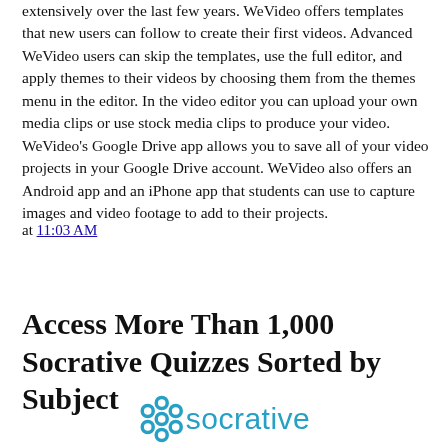extensively over the last few years. WeVideo offers templates that new users can follow to create their first videos. Advanced WeVideo users can skip the templates, use the full editor, and apply themes to their videos by choosing them from the themes menu in the editor. In the video editor you can upload your own media clips or use stock media clips to produce your video. WeVideo's Google Drive app allows you to save all of your video projects in your Google Drive account. WeVideo also offers an Android app and an iPhone app that students can use to capture images and video footage to add to their projects.
at 11:03 AM
Share
Access More Than 1,000 Socrative Quizzes Sorted by Subject
[Figure (logo): Socrative logo with teal hexagon icon and 'socrative' text in teal]